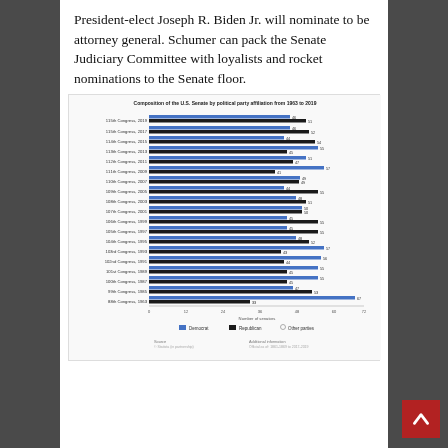President-elect Joseph R. Biden Jr. will nominate to be attorney general. Schumer can pack the Senate Judiciary Committee with loyalists and rocket nominations to the Senate floor.
[Figure (bar-chart): Composition of the U.S. Senate by political party affiliation from 1963 to 2019]